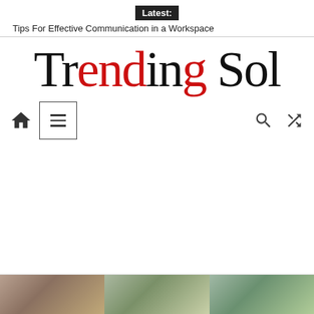Latest: Tips For Effective Communication in a Workspace
Trending Sol
[Figure (screenshot): Navigation bar with home icon, hamburger menu box, search icon, and shuffle icon]
[Figure (photo): Bottom strip showing three thumbnail images partially visible at the bottom of the page]